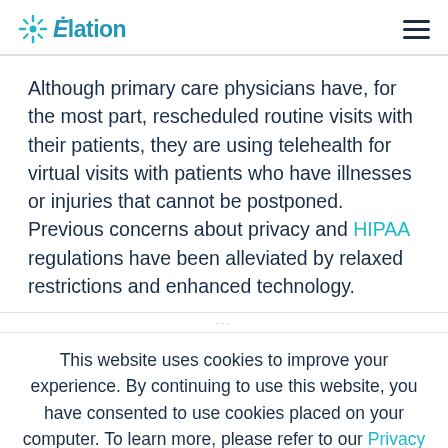Elation
Although primary care physicians have, for the most part, rescheduled routine visits with their patients, they are using telehealth for virtual visits with patients who have illnesses or injuries that cannot be postponed. Previous concerns about privacy and HIPAA regulations have been alleviated by relaxed restrictions and enhanced technology.
This website uses cookies to improve your experience. By continuing to use this website, you have consented to use cookies placed on your computer. To learn more, please refer to our Privacy Policy.
Accept